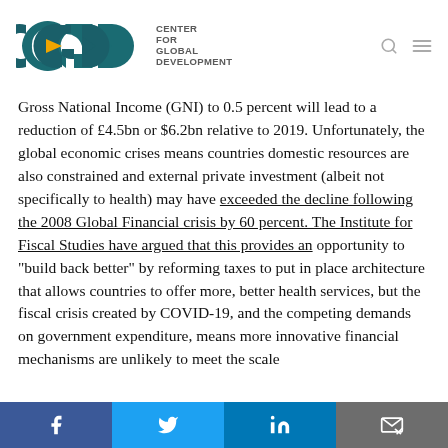CENTER FOR GLOBAL DEVELOPMENT
Gross National Income (GNI) to 0.5 percent will lead to a reduction of £4.5bn or $6.2bn relative to 2019. Unfortunately, the global economic crises means countries domestic resources are also constrained and external private investment (albeit not specifically to health) may have exceeded the decline following the 2008 Global Financial crisis by 60 percent. The Institute for Fiscal Studies have argued that this provides an opportunity to “build back better” by reforming taxes to put in place architecture that allows countries to offer more, better health services, but the fiscal crisis created by COVID-19, and the competing demands on government expenditure, means more innovative financial mechanisms are unlikely to meet the scale
Facebook Twitter LinkedIn Email